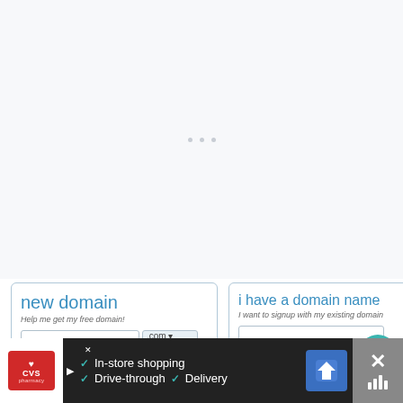[Figure (screenshot): Loading spinner / three small dots on a light grey background, indicating a website content area loading]
[Figure (screenshot): Card UI: 'new domain' card with italic subtitle 'Help me get my free domain!', a text input, a .com dropdown, hint text 'Type your domain name above', and a red arrow pointing to input. Next to it: 'i have a domain name' card with subtitle 'I want to signup with my existing domain', a text input, hint text 'Type your domain name above'. A teal heart FAB button at top-right with count '1' and a share FAB button below.]
[Figure (screenshot): Advertisement bar at bottom: CVS Pharmacy logo on white background, left arrow, checkmarks for 'In-store shopping', 'Drive-through', 'Delivery', a blue navigation/directions icon, and a grey close/stats panel on the right.]